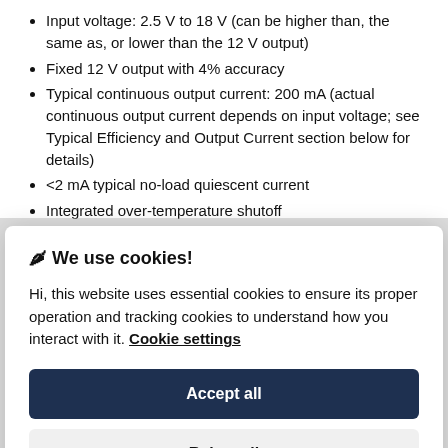Input voltage: 2.5 V to 18 V (can be higher than, the same as, or lower than the 12 V output)
Fixed 12 V output with 4% accuracy
Typical continuous output current: 200 mA (actual continuous output current depends on input voltage; see Typical Efficiency and Output Current section below for details)
<2 mA typical no-load quiescent current
Integrated over-temperature shutoff
Small size: 0.40″ × 0.575″ × 0.1″ (10 mm × 15 mm × 3 mm)
🌶 We use cookies!
Hi, this website uses essential cookies to ensure its proper operation and tracking cookies to understand how you interact with it. Cookie settings
Accept all
Reject all
The input voltage should be between 2.5 V and 18 V. Lower inputs can